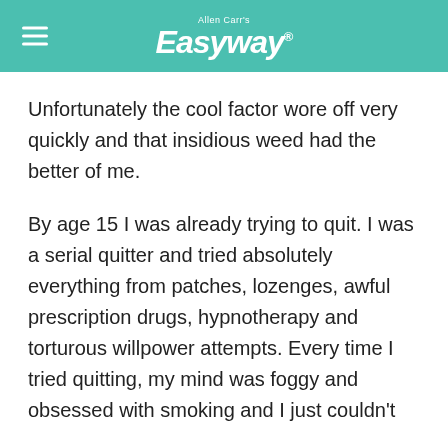Allen Carr's Easyway
Unfortunately the cool factor wore off very quickly and that insidious weed had the better of me.
By age 15 I was already trying to quit. I was a serial quitter and tried absolutely everything from patches, lozenges, awful prescription drugs, hypnotherapy and torturous willpower attempts. Every time I tried quitting, my mind was foggy and obsessed with smoking and I just couldn't